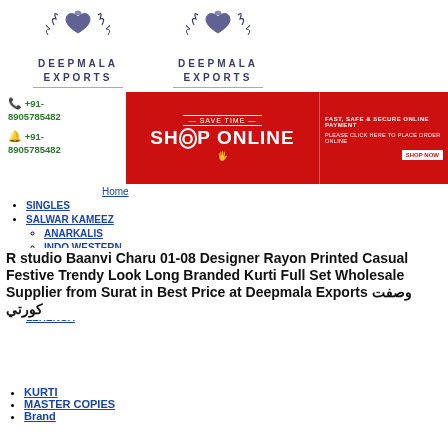[Figure (logo): Two Deepmala Exports logos side by side with decorative heart and floral motif, text DEEPMALA EXPORTS]
📞 +91-8905785482
🔔 +91-8905785482
[Figure (photo): Red banner reading SAVE TIME - SHOP ONLINE with cart icon, and right side: FAST, SAFE & SECURE ONLINE PAYMENT, PLEASE CLICK HERE TO PLACE ORDER ONLINE, SHOP NOW button]
Home
SINGLES
SALWAR KAMEEZ
ANARKALIS
INDO WESTERN
PATIYALA SUITS
PLAZZO SALWAR SUITS
STRAIGHT CUT SUITS
SAREE
LEHENGA
R studio Baanvi Charu 01-08 Designer Rayon Printed Casual Festive Trendy Look Long Branded Kurti Full Set Wholesale Supplier from Surat in Best Price at Deepmala Exports وصفت کورتي
KURTI
MASTER COPIES
Brand